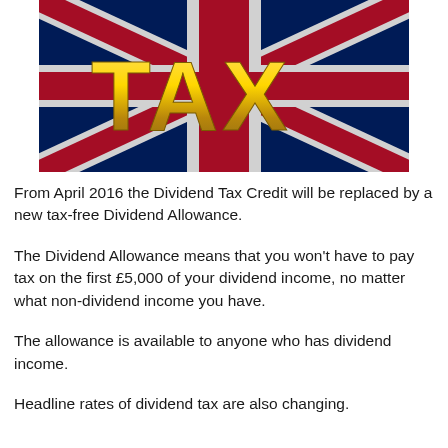[Figure (photo): Photo of a Union Jack (UK flag) with large gold 3D letters spelling TAX on top of it]
From April 2016 the Dividend Tax Credit will be replaced by a new tax-free Dividend Allowance.
The Dividend Allowance means that you won't have to pay tax on the first £5,000 of your dividend income, no matter what non-dividend income you have.
The allowance is available to anyone who has dividend income.
Headline rates of dividend tax are also changing.